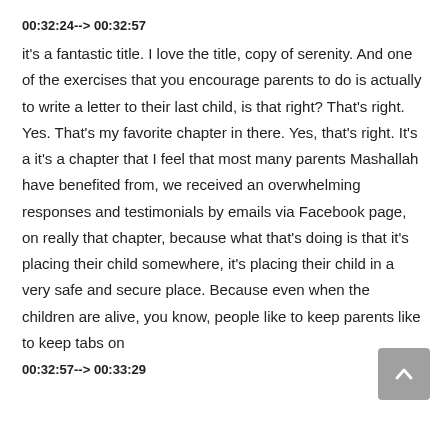00:32:24--> 00:32:57
it's a fantastic title. I love the title, copy of serenity. And one of the exercises that you encourage parents to do is actually to write a letter to their last child, is that right? That's right. Yes. That's my favorite chapter in there. Yes, that's right. It's a it's a chapter that I feel that most many parents Mashallah have benefited from, we received an overwhelming responses and testimonials by emails via Facebook page, on really that chapter, because what that's doing is that it's placing their child somewhere, it's placing their child in a very safe and secure place. Because even when the children are alive, you know, people like to keep parents like to keep tabs on
00:32:57--> 00:33:29